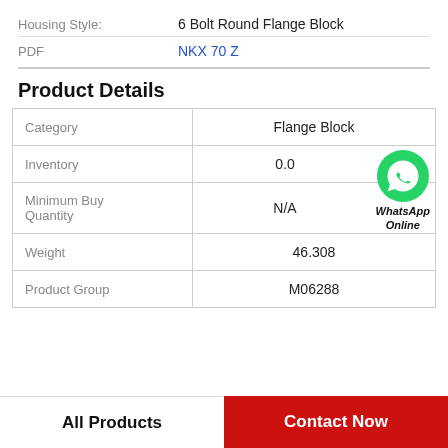Housing Style: 6 Bolt Round Flange Block
PDF   NKX 70 Z
Product Details
| Category | Value |
| --- | --- |
| Category | Flange Block |
| Inventory | 0.0 |
| Minimum Buy Quantity | N/A |
| Weight | 46.308 |
| Product Group | M06288 |
[Figure (logo): WhatsApp Online button with green phone icon and bold italic text 'WhatsApp Online']
All Products
Contact Now